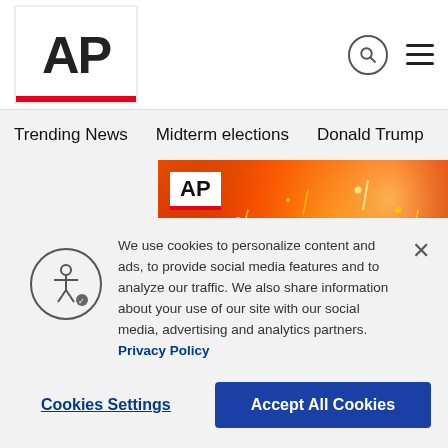AP
Trending News
Midterm elections
Donald Trump
Russia-Ukr
[Figure (photo): Wildfire with glowing orange embers and silhouetted trees at night, with AP logo badge and text 'AP News on the go']
We use cookies to personalize content and ads, to provide social media features and to analyze our traffic. We also share information about your use of our site with our social media, advertising and analytics partners. Privacy Policy
Cookies Settings
Accept All Cookies